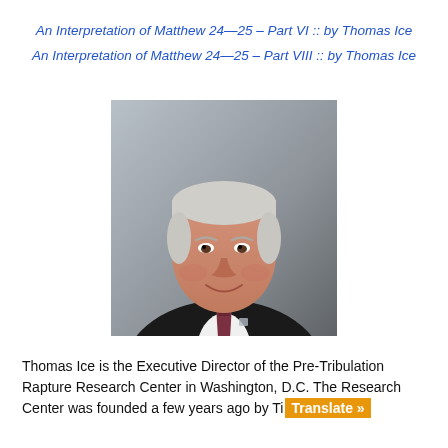An Interpretation of Matthew 24—25 – Part VI :: by Thomas Ice
An Interpretation of Matthew 24—25 – Part VIII :: by Thomas Ice
[Figure (photo): Professional headshot of Thomas Ice, a middle-aged man with white/gray hair, wearing a dark suit and dark red/burgundy tie with a small pin on the lapel, smiling, photographed against a gray gradient background.]
Thomas Ice is the Executive Director of the Pre-Tribulation Rapture Research Center in Washington, D.C. The Research Center was founded a few years ago by Ti...